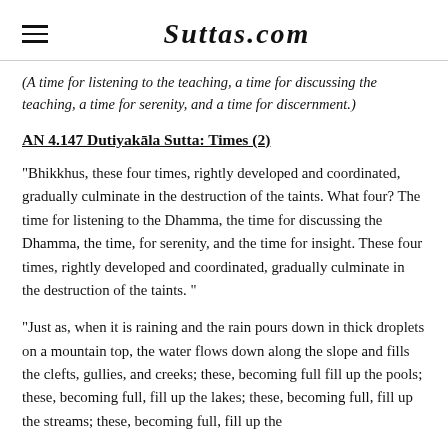Suttas.com
(A time for listening to the teaching, a time for discussing the teaching, a time for serenity, and a time for discernment.)
AN 4.147 Dutiyakāla Sutta: Times (2)
"Bhikkhus, these four times, rightly developed and coordinated, gradually culminate in the destruction of the taints. What four? The time for listening to the Dhamma, the time for discussing the Dhamma, the time, for serenity, and the time for insight. These four times, rightly developed and coordinated, gradually culminate in the destruction of the taints. "
"Just as, when it is raining and the rain pours down in thick droplets on a mountain top, the water flows down along the slope and fills the clefts, gullies, and creeks; these, becoming full fill up the pools; these, becoming full, fill up the lakes; these, becoming full, fill up the streams; these, becoming full, fill up the